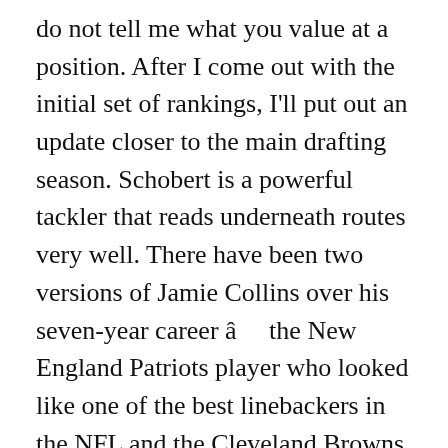do not tell me what you value at a position. After I come out with the initial set of rankings, I'll put out an update closer to the main drafting season. Schobert is a powerful tackler that reads underneath routes very well. There have been two versions of Jamie Collins over his seven-year career â    the New England Patriots player who looked like one of the best linebackers in the NFL and the Cleveland Browns player who looked far removed from that status. He can play the run. Signed with Raiders (3 years, $36 million) Cory Littleton has transformed from a special-teams standout to a stellar linebacker. His play is also starting to slip a little, but overall, McKinney still impacts